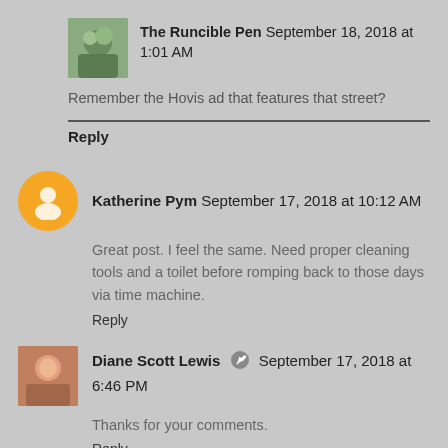The Runcible Pen  September 18, 2018 at 1:01 AM
Remember the Hovis ad that features that street?
Reply
Katherine Pym  September 17, 2018 at 10:12 AM
Great post. I feel the same. Need proper cleaning tools and a toilet before romping back to those days via time machine.
Reply
Diane Scott Lewis  September 17, 2018 at 6:46 PM
Thanks for your comments.
Reply